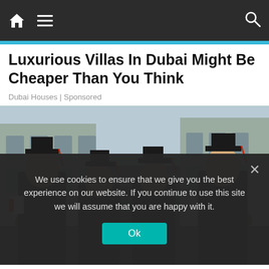Navigation bar with home, menu, and search icons
Luxurious Villas In Dubai Might Be Cheaper Than You Think
Dubai Houses | Sponsored
[Figure (photo): Four university graduates in black graduation gowns and caps with red tassels, smiling in front of a stone building. One holds a diploma with a red ribbon.]
We use cookies to ensure that we give you the best experience on our website. If you continue to use this site we will assume that you are happy with it.